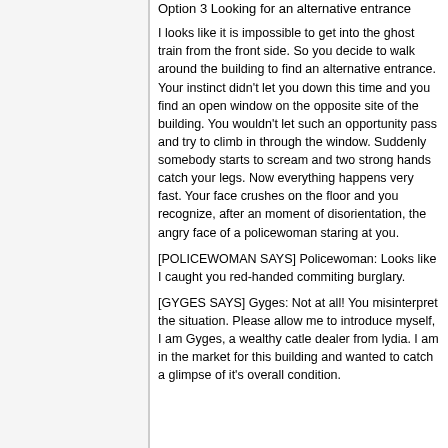Option 3 Looking for an alternative entrance
I looks like it is impossible to get into the ghost train from the front side. So you decide to walk around the building to find an alternative entrance. Your instinct didn't let you down this time and you find an open window on the opposite site of the building. You wouldn't let such an opportunity pass and try to climb in through the window. Suddenly somebody starts to scream and two strong hands catch your legs. Now everything happens very fast. Your face crushes on the floor and you recognize, after an moment of disorientation, the angry face of a policewoman staring at you.
[POLICEWOMAN SAYS] Policewoman: Looks like I caught you red-handed commiting burglary.
[GYGES SAYS] Gyges: Not at all! You misinterpret the situation. Please allow me to introduce myself, I am Gyges, a wealthy catle dealer from lydia. I am in the market for this building and wanted to catch a glimpse of it's overall condition.